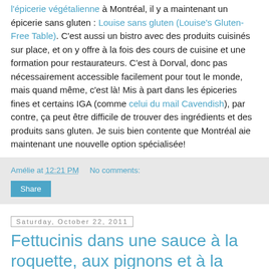l'épicerie végétalienne à Montréal, il y a maintenant un épicerie sans gluten : Louise sans gluten (Louise's Gluten-Free Table). C'est aussi un bistro avec des produits cuisinés sur place, et on y offre à la fois des cours de cuisine et une formation pour restaurateurs. C'est à Dorval, donc pas nécessairement accessible facilement pour tout le monde, mais quand même, c'est là! Mis à part dans les épiceries fines et certains IGA (comme celui du mail Cavendish), par contre, ça peut être difficile de trouver des ingrédients et des produits sans gluten. Je suis bien contente que Montréal aie maintenant une nouvelle option spécialisée!
Amélie at 12:21 PM    No comments:
Share
Saturday, October 22, 2011
Fettucinis dans une sauce à la roquette, aux pignons et à la pancetta
[Figure (photo): Dark thumbnail image at the bottom of the page]